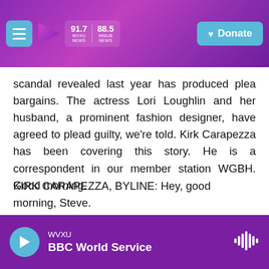WVXU 91.7 | WMUB 88.5 | Donate
scandal revealed last year has produced plea bargains. The actress Lori Loughlin and her husband, a prominent fashion designer, have agreed to plead guilty, we're told. Kirk Carapezza has been covering this story. He is a correspondent in our member station WGBH. Good morning.
KIRK CARAPEZZA, BYLINE: Hey, good morning, Steve.
INSKEEP: What did the couple do?
CARAPEZZA: Well, the couple is charged with conspiracy to commit wire and mail fraud. Court
WVXU | BBC World Service